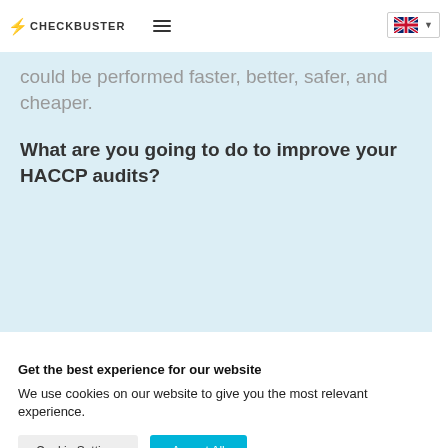CHECKBUSTER (logo with hamburger menu and language selector)
could be performed faster, better, safer, and cheaper.
What are you going to do to improve your HACCP audits?
Get the best experience for our website
We use cookies on our website to give you the most relevant experience.
Cookie Settings | Accept All